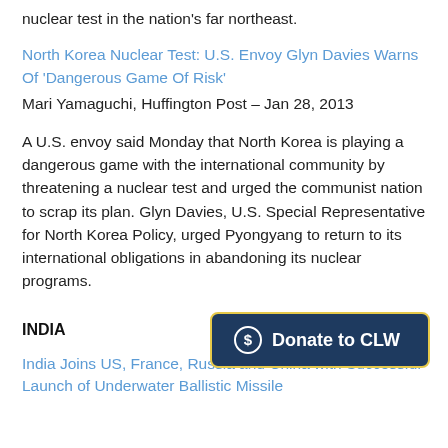nuclear test in the nation's far northeast.
North Korea Nuclear Test: U.S. Envoy Glyn Davies Warns Of 'Dangerous Game Of Risk'
Mari Yamaguchi, Huffington Post – Jan 28, 2013
A U.S. envoy said Monday that North Korea is playing a dangerous game with the international community by threatening a nuclear test and urged the communist nation to scrap its plan. Glyn Davies, U.S. Special Representative for North Korea Policy, urged Pyongyang to return to its international obligations in abandoning its nuclear programs.
INDIA
[Figure (other): Donate to CLW button with dollar sign icon, dark navy background and gold border]
India Joins US, France, Russia and China with Successful Launch of Underwater Ballistic Missile